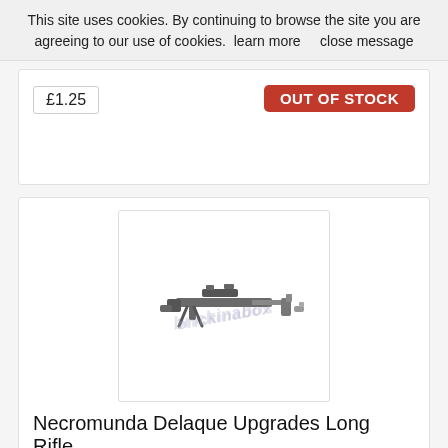This site uses cookies. By continuing to browse the site you are agreeing to our use of cookies.  learn more     close message
£1.25
OUT OF STOCK
[Figure (photo): Photo of Necromunda Delaque Upgrades Long Rifle model parts — a sniper rifle and accessories in dark grey plastic, with a brickinabox watermark]
Necromunda Delaque Upgrades Long Rifle
£1.99
OUT OF STOCK